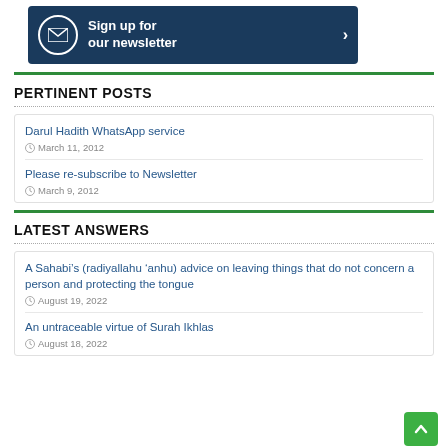[Figure (infographic): Newsletter signup banner with envelope icon on dark blue background and right arrow]
PERTINENT POSTS
Darul Hadith WhatsApp service — March 11, 2012
Please re-subscribe to Newsletter — March 9, 2012
LATEST ANSWERS
A Sahabi's (radiyallahu 'anhu) advice on leaving things that do not concern a person and protecting the tongue — August 19, 2022
An untraceable virtue of Surah Ikhlas — August 18, 2022